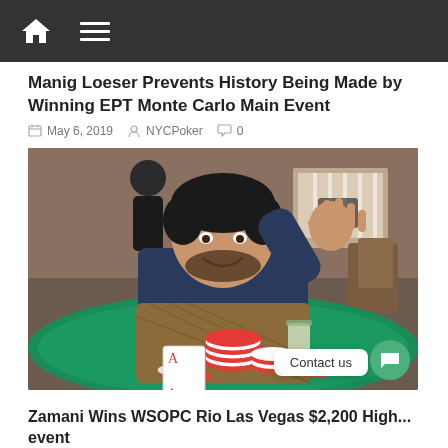Navigation bar with home and menu icons
Manig Loeser Prevents History Being Made by Winning EPT Monte Carlo Main Event
May 6, 2019  NYCPoker  0
[Figure (photo): A man sitting at a poker table waving at the camera, with poker chips and cards in front of him, in a casino setting.]
Zamani Wins WSOPC Rio Las Vegas $2,200 High... event